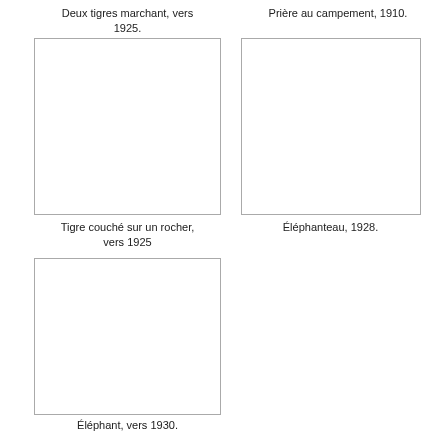Deux tigres marchant, vers 1925.
[Figure (photo): Empty image placeholder box for 'Deux tigres marchant, vers 1925']
Prière au campement, 1910.
[Figure (photo): Empty image placeholder box for 'Prière au campement, 1910']
Tigre couché sur un rocher, vers 1925
[Figure (photo): Empty image placeholder box for 'Tigre couché sur un rocher, vers 1925']
Éléphanteau, 1928.
Éléphant, vers 1930.
[Figure (photo): Empty image placeholder box for 'Éléphant, vers 1930']